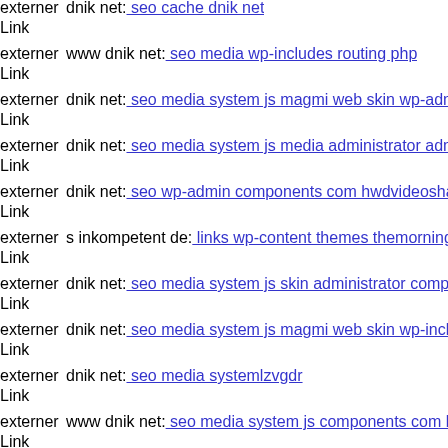externer Link | dnik net: seo cache dnik net
externer Link | www dnik net: seo media wp-includes routing php
externer Link | dnik net: seo media system js magmi web skin wp-admin ap
externer Link | dnik net: seo media system js media administrator adminsio
externer Link | dnik net: seo wp-admin components com hwdvideoshare as
externer Link | s inkompetent de: links wp-content themes themorningafter
externer Link | dnik net: seo media system js skin administrator component
externer Link | dnik net: seo media system js magmi web skin wp-includes
externer Link | dnik net: seo media systemlzvgdr
externer Link | www dnik net: seo media system js components com b2jco
externer Link | mail inkompetent de: links components com foxcontact dni
externer Link | dnik net: seo media components com b2jcontact phpthumb